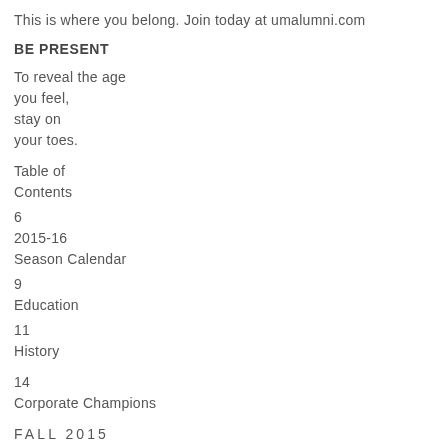This is where you belong. Join today at umalumni.com
BE PRESENT
To reveal the age
you feel,
stay on
your toes.
Table of Contents
6
2015-16
Season Calendar
9
Education
11
History
14
Corporate Champions
FALL 2015
12
Leadership Donors